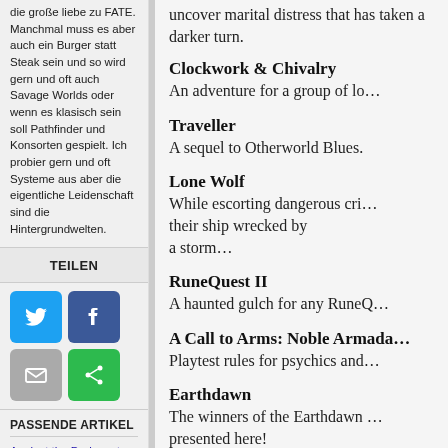die große liebe zu FATE. Manchmal muss es aber auch ein Burger statt Steak sein und so wird gern und oft auch Savage Worlds oder wenn es klasisch sein soll Pathfinder und Konsorten gespielt. Ich probier gern und oft Systeme aus aber die eigentliche Leidenschaft sind die Hintergrundwelten.
TEILEN
[Figure (infographic): Social share buttons: Twitter (blue bird), Facebook (dark blue f), Email (grey envelope), Share (green arrow icon)]
PASSENDE ARTIKEL
Against the Darkmaster Vorstellung von 3P – Regeln
uncover marital distress that has taken a darker turn.
Clockwork & Chivalry
An adventure for a group of lo…
Traveller
A sequel to Otherworld Blues.
Lone Wolf
While escorting dangerous cri… their ship wrecked by a storm…
RuneQuest II
A haunted gulch for any RuneQ…
A Call to Arms: Noble Armada…
Playtest rules for psychics and…
Earthdawn
The winners of the Earthdawn … presented here!